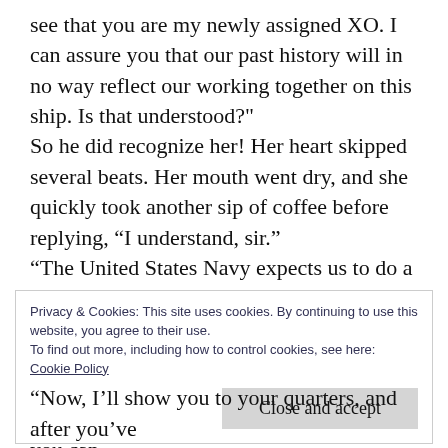see that you are my newly assigned XO. I can assure you that our past history will in no way reflect our working together on this ship. Is that understood?"
So he did recognize her! Her heart skipped several beats. Her mouth went dry, and she quickly took another sip of coffee before replying, “I understand, sir.”
“The United States Navy expects us to do a job. Any personal problems we have with each other are to remain just that—personal.”
“Of course, sir,” she said quietly.
“You are to follow my orders to the letter. If you can
Privacy & Cookies: This site uses cookies. By continuing to use this website, you agree to their use.
To find out more, including how to control cookies, see here:
Cookie Policy
Close and accept
“Now, I’ll show you to your quarters, and after you’ve